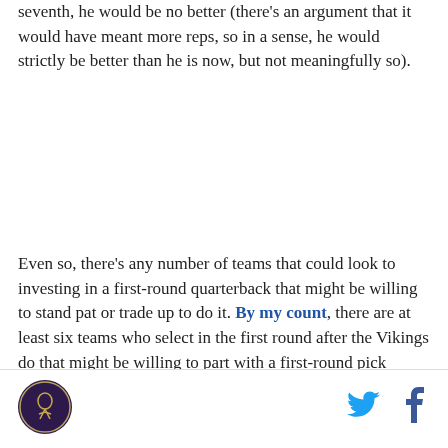seventh, he would be no better (there's an argument that it would have meant more reps, so in a sense, he would strictly be better than he is now, but not meaningfully so).
Even so, there's any number of teams that could look to investing in a first-round quarterback that might be willing to stand pat or trade up to do it. By my count, there are at least six teams who select in the first round after the Vikings do that might be willing to part with a first-round pick (though two of them also happen to select before the Vikings do as well). Of the six teams that could select a QB before the Vikings do at pick eight, one or two of them could take a stab before the Vikings could at pick forty.
[Figure (logo): Circular logo with dark purple/maroon background featuring a stylized figure, likely a sports team logo]